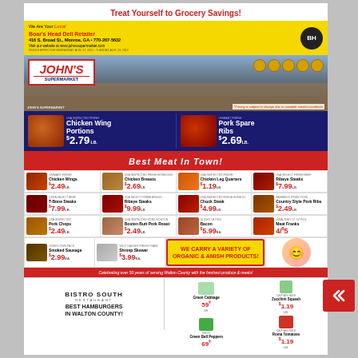Treat Yourself to Grocery Savings!
We Are Your Local Boar's Head Deli Retailer
416 S. Broad St., Monroe, GA • 770-267-5632
Visit our website at www.johnssupermarket.com
[Figure (photo): John's Supermarket storefront with logo]
*Pricing is subject to change due to unstable market conditions
[Figure (photo): Chicken Wing Portions $2.79 LB. - USA Inspected Fresh]
[Figure (photo): Pork Spare Ribs $2.69 LB. - Unimart Fresh]
Best Meat In Town!
[Figure (photo): Chicken Wings $2.49 LB.]
[Figure (photo): Chicken Breasts $2.69 LB.]
[Figure (photo): Chicken Leg Quarters $1.19 LB.]
[Figure (photo): Ribeye Steaks $7.99 LB.]
[Figure (photo): T-Bone Steaks $7.99 LB.]
[Figure (photo): Ribeye Steaks $9.99 LB.]
[Figure (photo): Chuck Steak $4.99 LB.]
[Figure (photo): Country Style Pork Ribs $2.49 LB.]
[Figure (photo): Pork Chops $2.49 LB.]
[Figure (photo): Boston Butt Pork Roast $2.49 LB.]
[Figure (photo): Bacon $5.99]
[Figure (photo): Meat Franks 4/$5]
[Figure (photo): Smoked Sausage $2.99]
[Figure (photo): Shrimp Skewer $3.99]
WE CARRY A VARIETY OF ORGANIC & AMISH PRODUCTS!
Celebrating over 50 years of serving Walton County with the freshest produce & meats!
[Figure (photo): Bistro South Restaurant - Best Hamburgers In Walton County!]
[Figure (photo): Green Cabbage 59¢ LB., Zucchini Squash $1.19 LB., Green Bell Peppers 69¢, Roma Tomatoes $1.19 LB.]